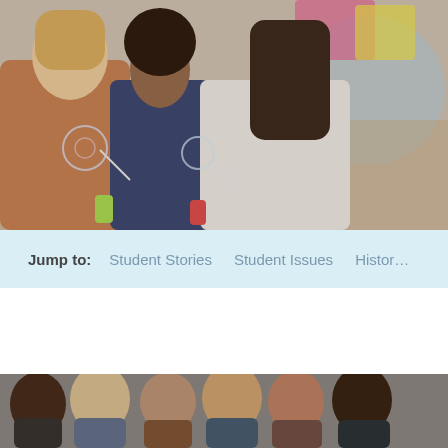[Figure (photo): Group of young people blowing bubbles outdoors, smiling and having fun, with a colorful kite visible in the background]
Jump to:   Student Stories   Student Issues   Histor…
[Figure (photo): Group of diverse smiling young people posing together outdoors]